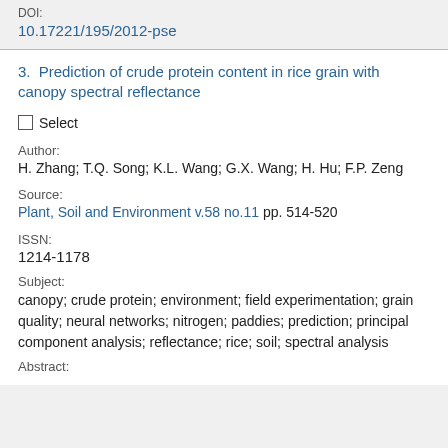DOI:
10.17221/195/2012-pse
3. Prediction of crude protein content in rice grain with canopy spectral reflectance
Select
Author:
H. Zhang; T.Q. Song; K.L. Wang; G.X. Wang; H. Hu; F.P. Zeng
Source:
Plant, Soil and Environment v.58 no.11 pp. 514-520
ISSN:
1214-1178
Subject:
canopy; crude protein; environment; field experimentation; grain quality; neural networks; nitrogen; paddies; prediction; principal component analysis; reflectance; rice; soil; spectral analysis
Abstract: